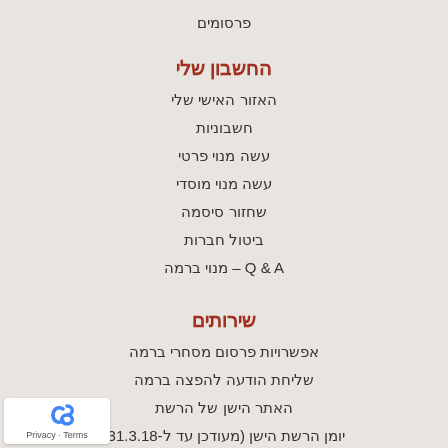פרסומים
החשבון שלי
האזור האישי שלי
חשבוניות
עשה מנוי פרטי
עשה מנוי מוסדי
שחזור סיסמה
ביטול חברות
Q & A – מנוי ברמה
שירותים
אפשרויות פרסום מסחרי ברמה
שליחת הודעה להפצה ברמה
האתר הישן של הרשת
יומן הרשת הישן (מעודכן עד ל-31.3.18)